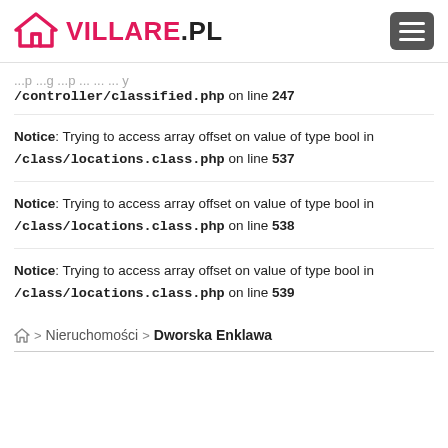VILLARE.PL
/controller/classified.php on line 247
Notice: Trying to access array offset on value of type bool in /class/locations.class.php on line 537
Notice: Trying to access array offset on value of type bool in /class/locations.class.php on line 538
Notice: Trying to access array offset on value of type bool in /class/locations.class.php on line 539
⌂ > Nieruchomości > Dworska Enklawa